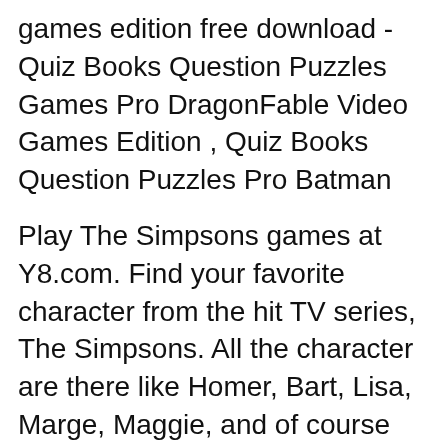games edition free download - Quiz Books Question Puzzles Games Pro DragonFable Video Games Edition , Quiz Books Question Puzzles Pro Batman
Play The Simpsons games at Y8.com. Find your favorite character from the hit TV series, The Simpsons. All the character are there like Homer, Bart, Lisa, Marge, Maggie, and of course Flanders. These games are mostly use the Flash Player. The Simpsons House was my second Lego build. When I saw this at the store I wanted it and ended up going back to get it. I worked on it for 6 days just to prolong the experience :) вЂ¦